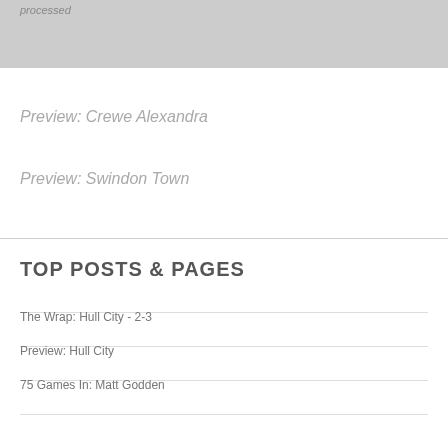[Figure (other): Gray banner/image placeholder at the top of the page]
Preview: Crewe Alexandra
Preview: Swindon Town
TOP POSTS & PAGES
The Wrap: Hull City - 2-3
Preview: Hull City
75 Games In: Matt Godden